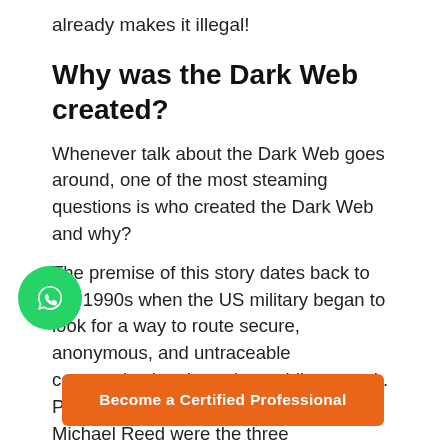already makes it illegal!
Why was the Dark Web created?
Whenever talk about the Dark Web goes around, one of the most steaming questions is who created the Dark Web and why?
The premise of this story dates back to the 1990s when the US military began to look for a way to route secure, anonymous, and untraceable communication through a public network. Paul Syverson, David Goldschlag, and Michael Reed were the three mathematicians at the Naval Research Laboratory who began working on the
[Figure (logo): WhatsApp logo button (green circle with white phone icon)]
Become a Certified Professional